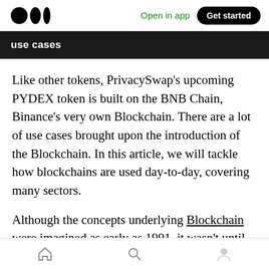Open in app | Get started
use cases
Like other tokens, PrivacySwap's upcoming PYDEX token is built on the BNB Chain, Binance's very own Blockchain. There are a lot of use cases brought upon the introduction of the Blockchain. In this article, we will tackle how blockchains are used day-to-day, covering many sectors.
Although the concepts underlying Blockchain were imagined as early as 1991, it wasn't until 2009 when Bitcoin was launched that the